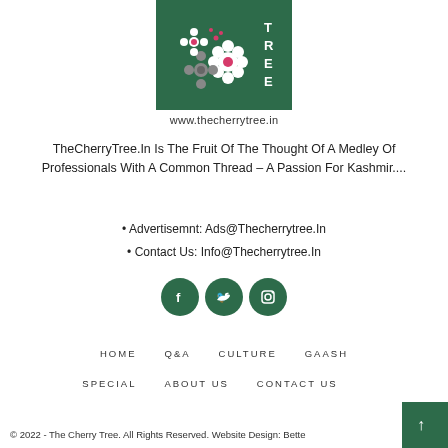[Figure (logo): The Cherry Tree logo: dark green box with white and pink flowers, text www.thecherrytree.in below]
TheCherryTree.In Is The Fruit Of The Thought Of A Medley Of Professionals With A Common Thread – A Passion For Kashmir....
• Advertisemnt: Ads@Thecherrytree.In
• Contact Us: Info@Thecherrytree.In
[Figure (illustration): Three dark green circular social media icons: Facebook, Twitter, Instagram]
HOME   Q&A   CULTURE   GAASH
SPECIAL   ABOUT US   CONTACT US
© 2022 - The Cherry Tree. All Rights Reserved. Website Design: Bette